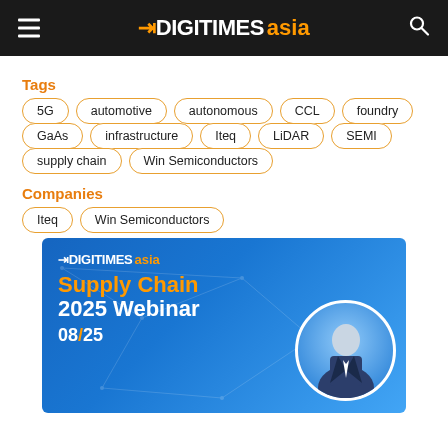DIGITIMES asia
Tags
5G
automotive
autonomous
CCL
foundry
GaAs
infrastructure
Iteq
LiDAR
SEMI
supply chain
Win Semiconductors
Companies
Iteq
Win Semiconductors
[Figure (infographic): DigiTimes Asia Supply Chain 2025 Webinar advertisement banner with blue gradient background, network lines, person photo in circular frame, and date 08/25]